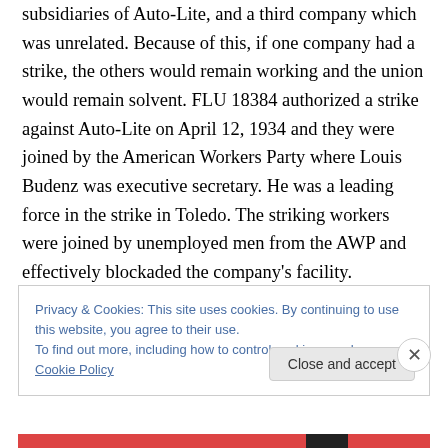subsidiaries of Auto-Lite, and a third company which was unrelated. Because of this, if one company had a strike, the others would remain working and the union would remain solvent. FLU 18384 authorized a strike against Auto-Lite on April 12, 1934 and they were joined by the American Workers Party where Louis Budenz was executive secretary. He was a leading force in the strike in Toledo. The striking workers were joined by unemployed men from the AWP and effectively blockaded the company's facility.
Privacy & Cookies: This site uses cookies. By continuing to use this website, you agree to their use.
To find out more, including how to control cookies, see here: Cookie Policy